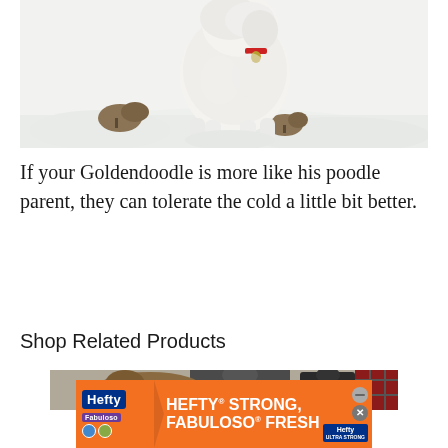[Figure (photo): A white fluffy Goldendoodle dog standing in snow, with a red bow/collar tag visible, surrounded by snow-covered ground and small brown shrubs. The dog appears to be looking down at the snow.]
If your Goldendoodle is more like his poodle parent, they can tolerate the cold a little bit better.
Shop Related Products
[Figure (photo): Partial view of dog products/clothing items including what appear to be dog coats or jackets in dark and plaid patterns.]
[Figure (photo): Advertisement banner for Hefty Strong, Fabuloso Fresh products. Orange background with white bold text reading HEFTY STRONG, FABULOSO FRESH. Includes Hefty logo in blue, Fabuloso purple logo, and a Hefty product image on the right side.]